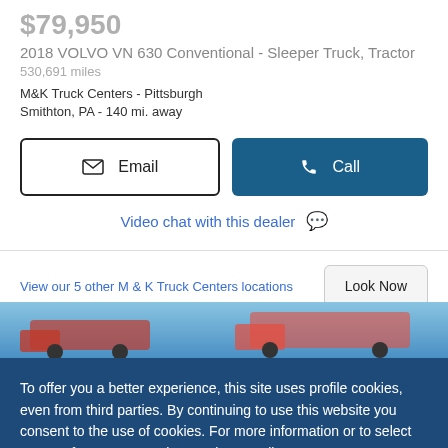$79,950
2018 VOLVO VN 630 Conventional - Sleeper Truck, Tractor
530,691 miles
M&K Truck Centers - Pittsburgh
Smithton, PA - 140 mi. away
✉ Email | 📞 Call
Video chat with this dealer 💬
View our 5 other M & K Truck Centers locations | Look Now
To offer you a better experience, this site uses profile cookies, even from third parties. By continuing to use this website you consent to the use of cookies. For more information or to select your preferences consult our Privacy Policy
❯ Cookie Settings | ✓ OK | ✕